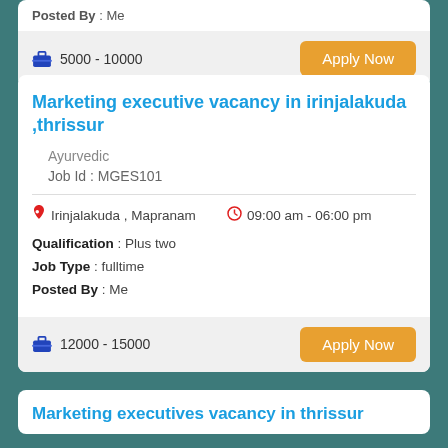Posted By : Me
5000 - 10000
Apply Now
Marketing executive vacancy in irinjalakuda ,thrissur
Ayurvedic
Job Id : MGES101
Irinjalakuda , Mapranam
09:00 am - 06:00 pm
Qualification : Plus two
Job Type : fulltime
Posted By : Me
12000 - 15000
Apply Now
Marketing executives vacancy in thrissur